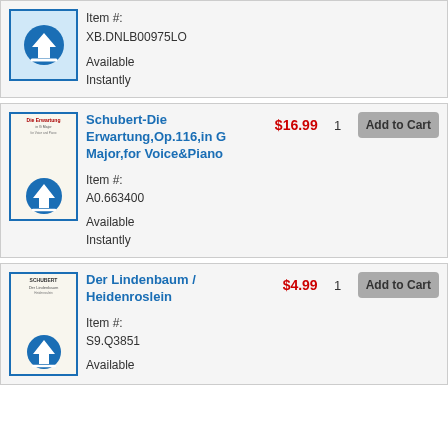[Figure (other): Product thumbnail with download icon for XB.DNLB00975LO item]
Item #: XB.DNLB00975LO
Available Instantly
[Figure (other): Sheet music cover thumbnail for Die Erwartung with download icon]
Schubert-Die Erwartung,Op.116,in G Major,for Voice&Piano
$16.99
1
Add to Cart
Item #: A0.663400
Available Instantly
[Figure (other): Sheet music cover thumbnail for Der Lindenbaum with download icon]
Der Lindenbaum / Heidenroslein
$4.99
1
Add to Cart
Item #: S9.Q3851
Available